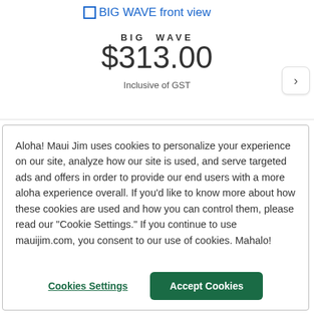BIG WAVE front view
BIG WAVE
$313.00
Inclusive of GST
Aloha! Maui Jim uses cookies to personalize your experience on our site, analyze how our site is used, and serve targeted ads and offers in order to provide our end users with a more aloha experience overall. If you'd like to know more about how these cookies are used and how you can control them, please read our "Cookie Settings." If you continue to use mauijim.com, you consent to our use of cookies. Mahalo!
Cookies Settings
Accept Cookies